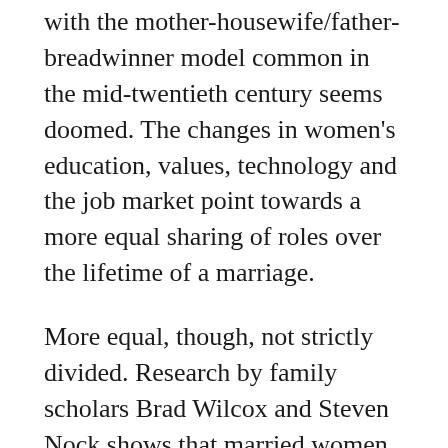with the mother-housewife/father-breadwinner model common in the mid-twentieth century seems doomed. The changes in women's education, values, technology and the job market point towards a more equal sharing of roles over the lifetime of a marriage.
More equal, though, not strictly divided. Research by family scholars Brad Wilcox and Steven Nock shows that married women are happiest when their marriage combines elements of the new and old. They find that both men and women “continue to tacitly value gendered patterns of behaviour in marriage” and what matters regarding roles is equity, or fairness, not strict equality. What is decisive for women’s happiness, however, is how